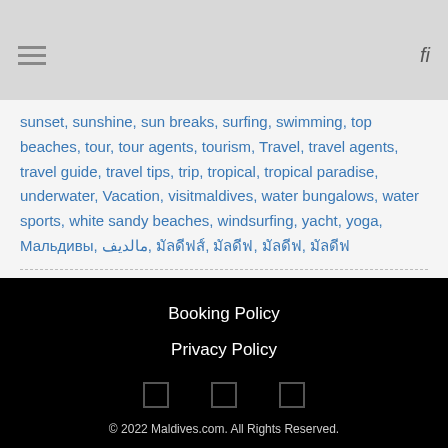Navigation header with hamburger menu and search icon
sunset, sunshine, sun breaks, surfing, swimming, top beaches, tour, tour agents, tourism, Travel, travel agents, travel guide, travel tips, trip, tropical, tropical paradise, underwater, Vacation, visitmaldives, water bungalows, water sports, white sandy beaches, windsurfing, yacht, yoga, Мальдивы, مالديف, มัลดีฟส์, มัลดีฟ, มัลดีฟ, มัลดีฟ
Search ...
Booking Policy
Privacy Policy
© 2022 Maldives.com. All Rights Reserved.